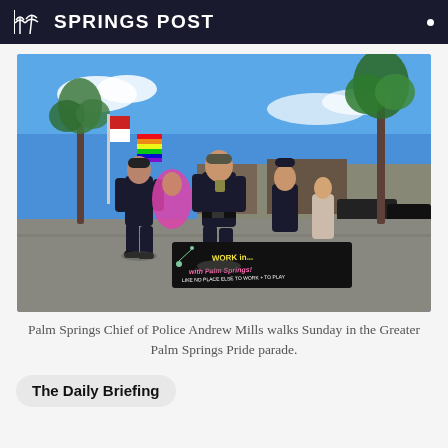SPRINGS POST
[Figure (photo): Palm Springs Chief of Police Andrew Mills and other officers walking in the Greater Palm Springs Pride parade. A black banner reads 'WORK in... with Palm Springs! LIKE NO PLACE ELSE TO WORK + TO PLAY'. Rainbow flags and palm trees are visible in the background under a blue sky.]
Palm Springs Chief of Police Andrew Mills walks Sunday in the Greater Palm Springs Pride parade.
The Daily Briefing